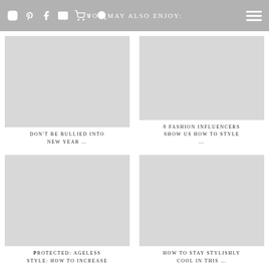YOU MAY ALSO ENJOY:
[Figure (photo): Thumbnail image placeholder for article: Don't Be Bullied Into New Year ...]
DON'T BE BULLIED INTO NEW YEAR ...
[Figure (photo): Thumbnail image placeholder for article: 8 Fashion Influencers Show Us How To Style ...]
8 FASHION INFLUENCERS SHOW US HOW TO STYLE ...
[Figure (photo): Thumbnail image placeholder for article: Protected: Ageless Style: How To Increase]
PROTECTED: AGELESS STYLE: HOW TO INCREASE
[Figure (photo): Thumbnail image placeholder for article: How To Stay Stylishly Cool In This ...]
HOW TO STAY STYLISHLY COOL IN THIS ...